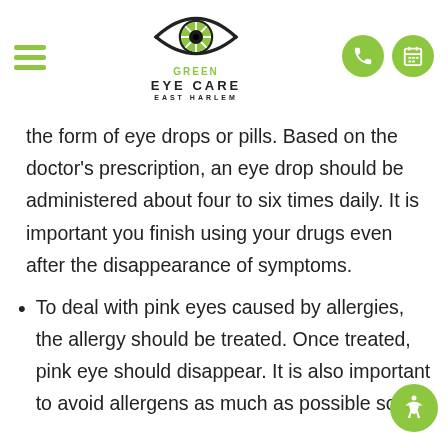[Figure (logo): Green Eye Care East Harlem logo with eye icon, hamburger menu, phone and calendar icons]
the form of eye drops or pills. Based on the doctor's prescription, an eye drop should be administered about four to six times daily. It is important you finish using your drugs even after the disappearance of symptoms.
To deal with pink eyes caused by allergies, the allergy should be treated. Once treated, pink eye should disappear. It is also important to avoid allergens as much as possible so avoid pink eye...